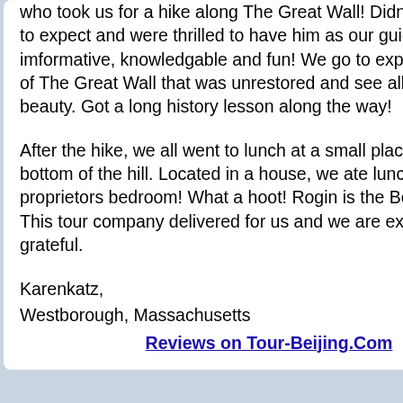who took us for a hike along The Great Wall! Didn't know what to expect and were thrilled to have him as our guide. Very imformative, knowledgable and fun! We go to experience a part of The Great Wall that was unrestored and see all its natural beauty. Got a long history lesson along the way!
After the hike, we all went to lunch at a small place at the bottom of the hill. Located in a house, we ate lunch in the proprietors bedroom! What a hoot! Rogin is the Best of the Best! This tour company delivered for us and we are extremely grateful.
Karenkatz,
Westborough, Massachusetts
Reviews on Tour-Beijing.Com
No more than 2,000 chara
Send me an E-mail if anyc
[Figure (illustration): Cartoon illustration of a notebook with a pen, partially visible at the right edge of the page]